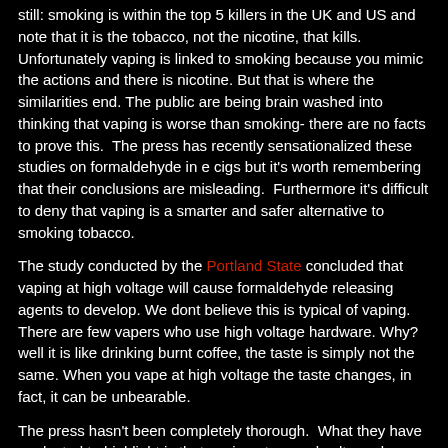still: smoking is within the top 5 killers in the UK and US and note that it is the tobacco, not the nicotine, that kills. Unfortunately vaping is linked to smoking because you mimic the actions and there is nicotine. But that is where the similarities end. The public are being brain washed into thinking that vaping is worse than smoking- there are no facts to prove this.  The press has recently sensationalized these studies on formaldehyde in e cigs but it's worth remembering that their conclusions are misleading.  Furthermore it's difficult to deny that vaping is a smarter and safer alternative to smoking tobacco.
The study conducted by the Portland State concluded that vaping at high voltage will cause formaldehyde releasing agents to develop. We dont believe this is typical of vaping.   There are few vapers who use high voltage hardware. Why? well it is like drinking burnt coffee, the taste is simply not the same. When you vape at high voltage the taste changes, in fact, it can be unbearable.
The press hasn't been completely thorough.  What they have neglected to highlight is that vaping at normal voltage does not produce formaldehyde in e cigs.
There is no proof that e-cigs / vaping are worse for you than smoking.  This is a fact.  We at Matchless will continue enjoying our vaping sessions, while remaining sensible about the voltage levels we vape at